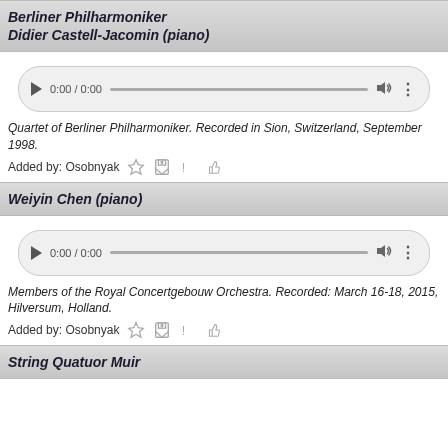Berliner Philharmoniker Didier Castell-Jacomin (piano)
[Figure (screenshot): Audio player widget showing 0:00 / 0:00 with play button, progress bar, volume icon, and more icon]
Quartet of Berliner Philharmoniker. Recorded in Sion, Switzerland, September 1998.
Added by: Osobnyak
Weiyin Chen (piano)
[Figure (screenshot): Audio player widget showing 0:00 / 0:00 with play button, progress bar, volume icon, and more icon]
Members of the Royal Concertgebouw Orchestra. Recorded: March 16-18, 2015, Hilversum, Holland.
Added by: Osobnyak
String Quatuor Muir